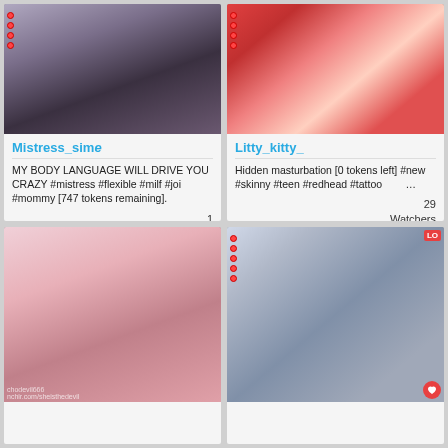[Figure (photo): Webcam thumbnail of woman in black sheer top sitting on bed]
Mistress_simе
MY BODY LANGUAGE WILL DRIVE YOU CRAZY #mistress #flexible #milf #joi #mommy [747 tokens remaining].
1
Watchers
[Figure (photo): Webcam thumbnail of woman with long red hair and tattoos]
Litty_kitty_
Hidden masturbation [0 tokens left] #new #skinny #teen #redhead #tattoo ...
29
Watchers
[Figure (photo): Webcam thumbnail showing close-up of woman in red outfit with watermark text]
[Figure (photo): Webcam thumbnail of woman with long black hair in bikini top, LOVE badge visible]